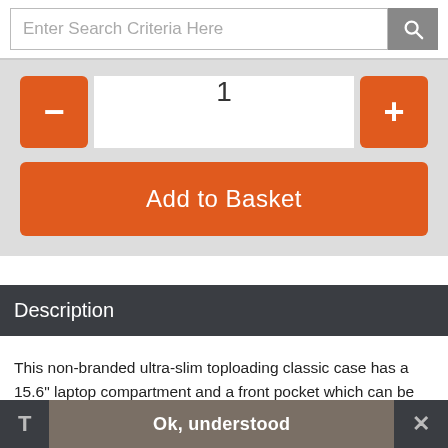[Figure (screenshot): Search bar with placeholder text 'Enter Search Criteria Here' and a grey search button with magnifying glass icon]
[Figure (screenshot): Quantity selector with orange minus and plus buttons, white input field showing '1', and orange 'Add to Basket' button]
Description
This non-branded ultra-slim toploading classic case has a 15.6" laptop compartment and a front pocket which can be used to carry all those documents, cables, leads, accessories and files you need. With its adjustable and removable shoulder strap you can choose to carry it over your shoulder or the casual grip carrying handle gives you the option to
T  Ok, understood  ×